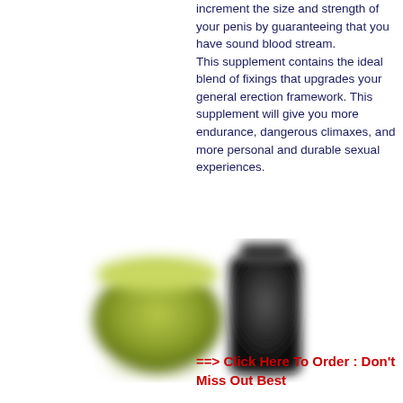increment the size and strength of your penis by guaranteeing that you have sound blood stream. This supplement contains the ideal blend of fixings that upgrades your general erection framework. This supplement will give you more endurance, dangerous climaxes, and more personal and durable sexual experiences.
[Figure (photo): Two blurred supplement product containers — a wide green jar on the left and a tall dark/black bottle on the right.]
==> Click Here To Order : Don't Miss Out Best